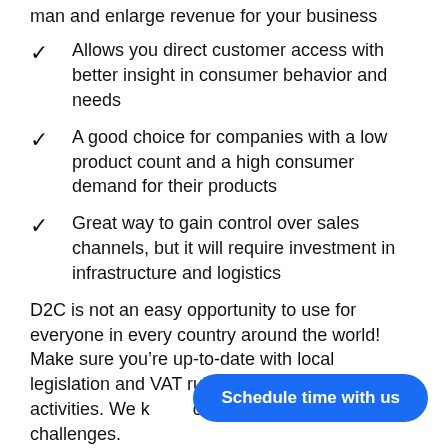man and enlarge revenue for your business
Allows you direct customer access with better insight in consumer behavior and needs
A good choice for companies with a low product count and a high consumer demand for their products
Great way to gain control over sales channels, but it will require investment in infrastructure and logistics
D2C is not an easy opportunity to use for everyone in every country around the world! Make sure you’re up-to-date with local legislation and VAT rules before starting D2C activities. We know the challenges and can help with this challenges.